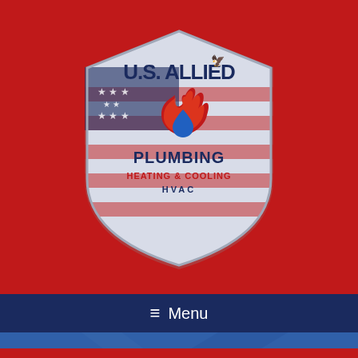[Figure (logo): U.S. Allied Plumbing Heating & Cooling HVAC shield logo on red background]
≡  Menu
Let Us Help With Your Project Today!